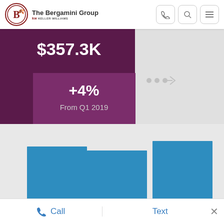The Bergamini Group kw
[Figure (bar-chart): Median Home Price]
Call   Text